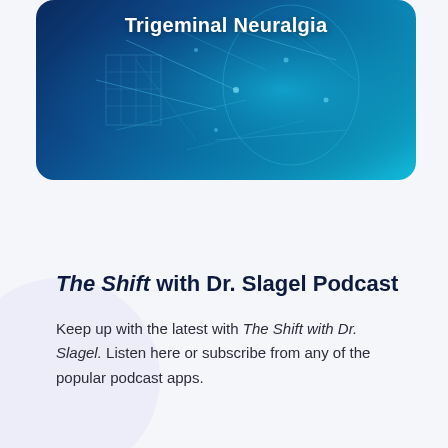[Figure (illustration): Blue digital brain/head neural network hero image with glowing circuit lines on dark blue background]
Trigeminal Neuralgia
The Shift with Dr. Slagel Podcast
Keep up with the latest with The Shift with Dr. Slagel. Listen here or subscribe from any of the popular podcast apps.